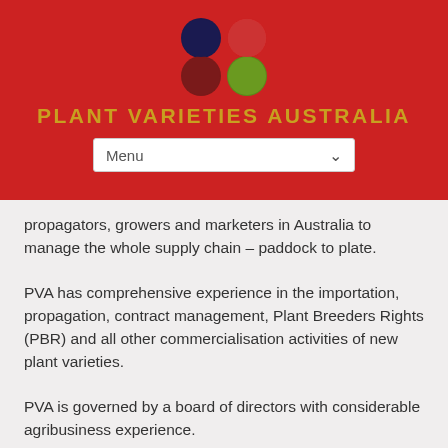[Figure (logo): Plant Varieties Australia logo with four colored circles (dark blue, red, dark red, green) arranged in a 2x2 grid]
PLANT VARIETIES AUSTRALIA
[Figure (screenshot): Menu dropdown navigation bar with 'Menu' label and dropdown arrow]
propagators, growers and marketers in Australia to manage the whole supply chain – paddock to plate.
PVA has comprehensive experience in the importation, propagation, contract management, Plant Breeders Rights (PBR) and all other commercialisation activities of new plant varieties.
PVA is governed by a board of directors with considerable agribusiness experience.